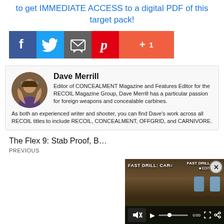to get IMMEDIATE ACCESS to a digital PDF of this target pack!
[Figure (screenshot): Social share buttons: Facebook, Twitter, Email, Pinterest, Google+1]
Dave Merrill
Editor of CONCEALMENT Magazine and Features Editor for the RECOIL Magazine Group, Dave Merrill has a particular passion for foreign weapons and concealable carbines. As both an experienced writer and shooter, you can find Dave's work across all RECOIL titles to include RECOIL, CONCEALMENT, OFFGRID, and CARNIVORE.
The Flex 9: Stab Proof, B...
PREVIOUS
[Figure (screenshot): Video overlay: FAST DRILL: CAR... video player with controls showing 0:00]